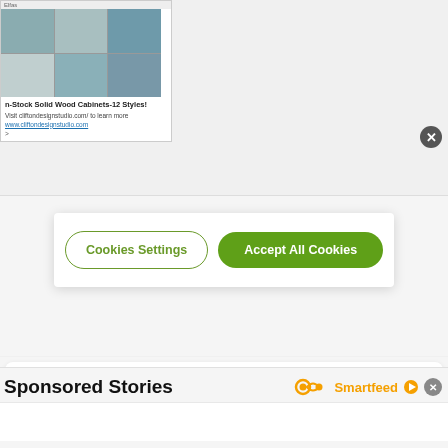[Figure (screenshot): Advertisement banner for Clifton Design Studio showing kitchen/cabinet images with label 'n-Stock Solid Wood Cabinets-12 Styles! Visit cliftondesignstudio.com/ to learn more www.cliftondesignstudio.com >']
[Figure (screenshot): Cookie consent dialog with 'Cookies Settings' button (outlined) and 'Accept All Cookies' button (green). Close X button in top right corner.]
Tom is a writer in London with a Master's degree in Journalism whose editorial work covers anything from health and the environment to technology and archaeology.
Read IFLScience Editorial Policy
Sponsored Stories
[Figure (logo): Smartfeed logo with infinity-like icon in orange, 'Smartfeed' text, and orange play button arrow. Close X button next to it.]